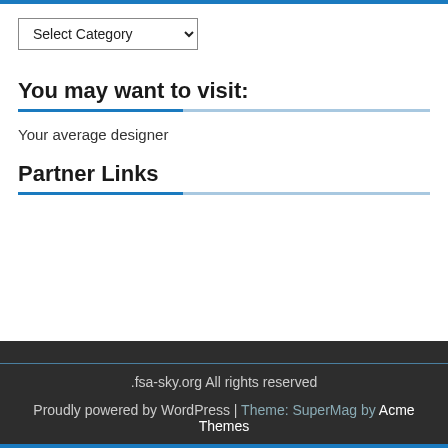[Figure (screenshot): Dropdown select box labeled 'Select Category' with a chevron arrow]
You may want to visit:
Your average designer
Partner Links
.fsa-sky.org All rights reserved
Proudly powered by WordPress | Theme: SuperMag by Acme Themes